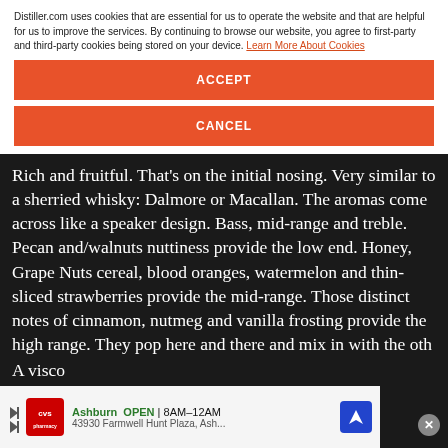DISTILLER
COMMENT   LIKE   SHOW COMMENTS (2)
Distiller.com uses cookies that are essential for us to operate the website and that are helpful for us to improve the services. By continuing to browse our website, you agree to first-party and third-party cookies being stored on your device. Learn More About Cookies
ACCEPT
MILK & HONEY APEX POMEGRANATE
CANCEL
Tasted April 10, 2022
4.0 ★★★★
Rich and fruitful. That's on the initial nosing. Very similar to a sherried whisky: Dalmore or Macallan. The aromas come across like a speaker design. Bass, mid-range and treble. Pecan and/or walnuts nuttiness provide the low end. Honey, Grape Nuts cereal, blood oranges, watermelon and thin-sliced strawberries provide the mid-range. Those distinct notes of cinnamon, nutmeg and vanilla frosting provide the high range. They pop here and there and mix in with the oth
A visco...
Ashburn  OPEN | 8AM–12AM  43930 Farmwell Hunt Plaza, Ash...